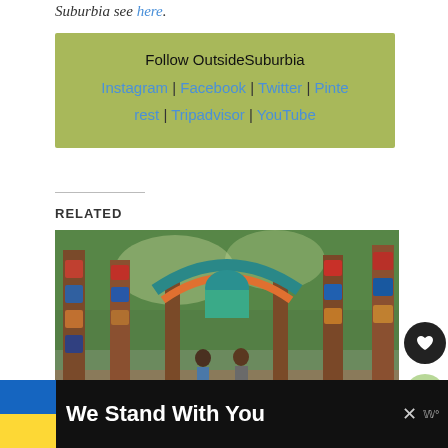Suburbia see here.
Follow OutsideSuburbia
Instagram | Facebook | Twitter | Pinterest | Tripadvisor | YouTube
RELATED
[Figure (photo): Two people standing in front of colorful totem poles in a forested area, with a wooden sign in front of them.]
We Stand With You